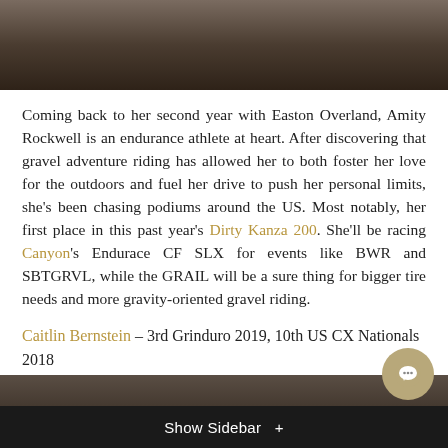[Figure (photo): Cropped cycling photo showing a rider's lower body on a bicycle, shot outdoors]
Coming back to her second year with Easton Overland, Amity Rockwell is an endurance athlete at heart. After discovering that gravel adventure riding has allowed her to both foster her love for the outdoors and fuel her drive to push her personal limits, she's been chasing podiums around the US. Most notably, her first place in this past year's Dirty Kanza 200. She'll be racing Canyon's Endurace CF SLX for events like BWR and SBTGRVL, while the GRAIL will be a sure thing for bigger tire needs and more gravity-oriented gravel riding.
Caitlin Bernstein – 3rd Grinduro 2019, 10th US CX Nationals 2018
[Figure (photo): Partial outdoor cycling photo, dark toned]
Show Sidebar +